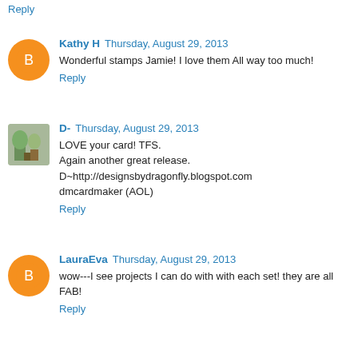Reply
Kathy H  Thursday, August 29, 2013
Wonderful stamps Jamie! I love them All way too much!
Reply
D-  Thursday, August 29, 2013
LOVE your card! TFS.
Again another great release.
D~http://designsbydragonfly.blogspot.com
dmcardmaker (AOL)
Reply
LauraEva  Thursday, August 29, 2013
wow---I see projects I can do with with each set! they are all FAB!
Reply